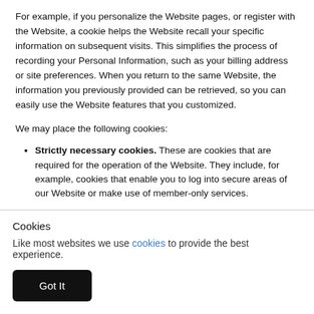For example, if you personalize the Website pages, or register with the Website, a cookie helps the Website recall your specific information on subsequent visits. This simplifies the process of recording your Personal Information, such as your billing address or site preferences. When you return to the same Website, the information you previously provided can be retrieved, so you can easily use the Website features that you customized.
We may place the following cookies:
Strictly necessary cookies. These are cookies that are required for the operation of the Website. They include, for example, cookies that enable you to log into secure areas of our Website or make use of member-only services.
Analytical/performance cookies. They allow us to recognize and count the number of visitors and to see how visitors move around the Website when they are using it. This helps us to improve the way our Website works, for example, by ensuring that users are finding what they are looking for easily.
Functionality cookies. These are used to recognize you when you return to the Website. This enables us to personalize our content for you, greet you by name and remember your preferences (for example, your choice of language
Cookies
Like most websites we use cookies to provide the best experience.
Got It